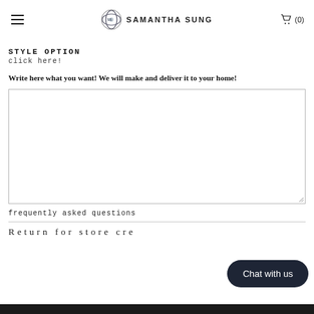≡   SAMANTHA SUNG   (0)
STYLE OPTION
click here!
Write here what you want! We will make and deliver it to your home!
frequently asked questions
Return for store cre
Chat with us